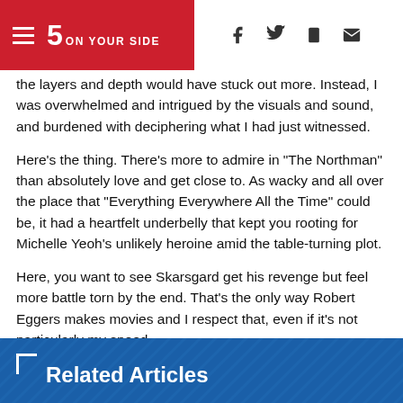5 ON YOUR SIDE
the layers and depth would have stuck out more. Instead, I was overwhelmed and intrigued by the visuals and sound, and burdened with deciphering what I had just witnessed.
Here's the thing. There's more to admire in "The Northman" than absolutely love and get close to. As wacky and all over the place that "Everything Everywhere All the Time" could be, it had a heartfelt underbelly that kept you rooting for Michelle Yeoh's unlikely heroine amid the table-turning plot.
Here, you want to see Skarsgard get his revenge but feel more battle torn by the end. That's the only way Robert Eggers makes movies and I respect that, even if it's not particularly my speed.
Related Articles